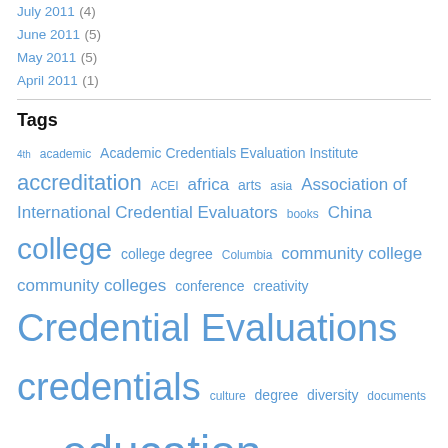July 2011 (4)
June 2011 (5)
May 2011 (5)
April 2011 (1)
Tags
4th academic Academic Credentials Evaluation Institute accreditation ACEI africa arts asia Association of International Credential Evaluators books China college college degree Columbia community college community colleges conference creativity Credential Evaluations credentials culture degree diversity documents edtech education educational curriculum education policy europe facts france geography Germany gratitude higher education higher education research history holiday